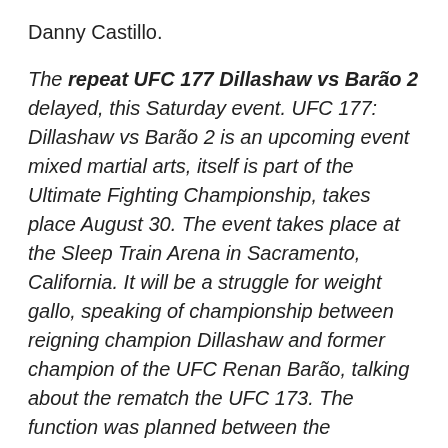Danny Castillo.
The repeat UFC 177 Dillashaw vs Barão 2 delayed, this Saturday event. UFC 177: Dillashaw vs Barão 2 is an upcoming event mixed martial arts, itself is part of the Ultimate Fighting Championship, takes place August 30. The event takes place at the Sleep Train Arena in Sacramento, California. It will be a struggle for weight gallo, speaking of championship between reigning champion Dillashaw and former champion of the UFC Renan Barão, talking about the rematch the UFC 173. The function was planned between the Demetrious Johnson and Chris Cariaso flyweight champion but the fight moved to UFC 178, and the space was occupied by the battle between Tony Ferguson and Danny Castillo.